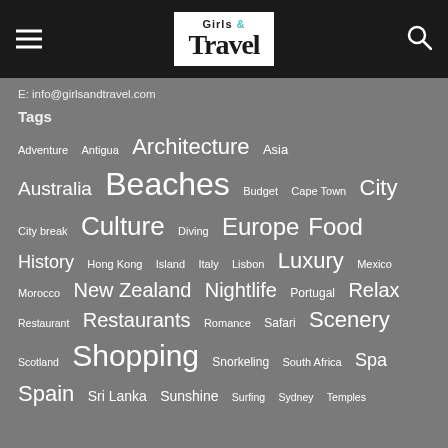Girls & Travel
E: info@girlsandtravel.com
Tags
Adventure, Antigua, Architecture, Asia, Australia, Beaches, Budget, Cape Town, City, City break, Culture, Diving, Europe, Food, History, Hong Kong, Island, Italy, Lisbon, Luxury, Mexico, Morocco, New Zealand, Nightlife, Portugal, Relax, Restaurant, Restaurants, Romance, Safari, Scenery, Scotland, Shopping, Snorkeling, South Africa, Spa, Spain, Sri Lanka, Sunshine, Surfing, Sydney, Temples